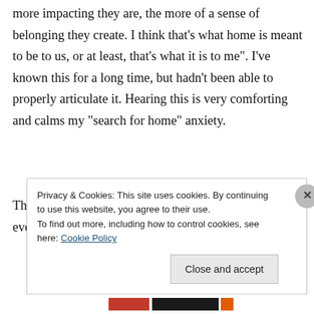more impacting they are, the more of a sense of belonging they create. I think that's what home is meant to be to us, or at least, that's what it is to me". I've known this for a long time, but hadn't been able to properly articulate it. Hearing this is very comforting and calms my "search for home" anxiety.
Thank you once again James and keep posting! When ever I feel out of step, I search for articles like these.
Privacy & Cookies: This site uses cookies. By continuing to use this website, you agree to their use.
To find out more, including how to control cookies, see here: Cookie Policy